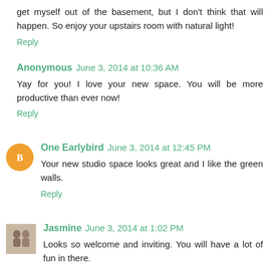get myself out of the basement, but I don't think that will happen. So enjoy your upstairs room with natural light!
Reply
Anonymous June 3, 2014 at 10:36 AM
Yay for you! I love your new space. You will be more productive than ever now!
Reply
One Earlybird June 3, 2014 at 12:45 PM
Your new studio space looks great and I like the green walls.
Reply
Jasmine June 3, 2014 at 1:02 PM
Looks so welcome and inviting. You will have a lot of fun in there.